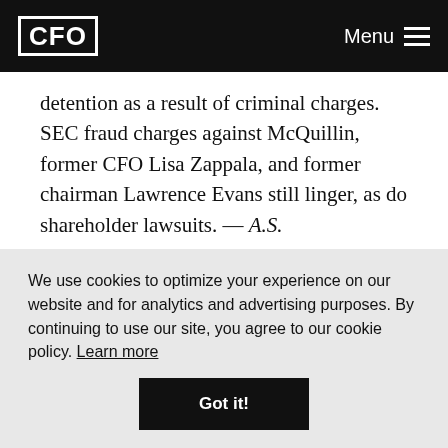CFO  Menu
detention as a result of criminal charges. SEC fraud charges against McQuillin, former CFO Lisa Zappala, and former chairman Lawrence Evans still linger, as do shareholder lawsuits. — A.S.
Help on the Horizon
Companies that now struggle with SOP 97-2 may
We use cookies to optimize your experience on our website and for analytics and advertising purposes. By continuing to use our site, you agree to our cookie policy. Learn more
Got it!